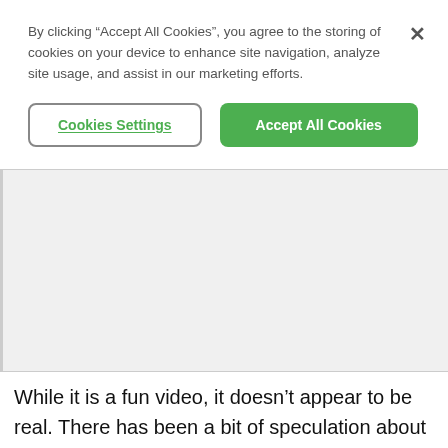By clicking “Accept All Cookies”, you agree to the storing of cookies on your device to enhance site navigation, analyze site usage, and assist in our marketing efforts.
[Figure (screenshot): Cookie consent dialog with two buttons: 'Cookies Settings' (outlined) and 'Accept All Cookies' (green filled), plus a close X button]
[Figure (other): Gray rectangular placeholder area representing an embedded image or video]
While it is a fun video, it doesn’t appear to be real. There has been a bit of speculation about why the video was made. Simply a regular guy trying to find stardom on YouTube? Sponsored by GoPro for a commercial? (Though, if this were the case, it seems like they would have wanted a bit better resolution